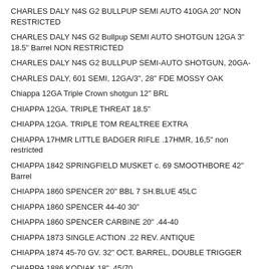CHARLES DALY N4S G2 BULLPUP SEMI AUTO 410GA 20" NON RESTRICTED
CHARLES DALY N4S G2 Bullpup SEMI AUTO SHOTGUN 12GA 3" 18.5" Barrel NON RESTRICTED
CHARLES DALY N4S G2 BULLPUP SEMI-AUTO SHOTGUN, 20GA-
CHARLES DALY, 601 SEMI, 12GA/3", 28" FDE MOSSY OAK
Chiappa 12GA Triple Crown shotgun 12" BRL
CHIAPPA 12GA. TRIPLE THREAT 18.5"
CHIAPPA 12GA. TRIPLE TOM REALTREE EXTRA
CHIAPPA 17HMR LITTLE BADGER RIFLE .17HMR, 16,5" non restricted
CHIAPPA 1842 SPRINGFIELD MUSKET c. 69 SMOOTHBORE 42" Barrel
CHIAPPA 1860 SPENCER 20" BBL 7 SH.BLUE 45LC
CHIAPPA 1860 SPENCER 44-40 30"
CHIAPPA 1860 SPENCER CARBINE 20" .44-40
CHIAPPA 1873 SINGLE ACTION .22 REV. ANTIQUE
CHIAPPA 1874 45-70 GV. 32" OCT. BARREL, DOUBLE TRIGGER
CHIAPPA 1886 KODIAK 18" .45/70